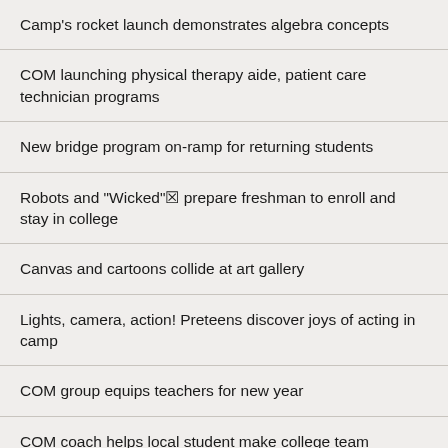Camp's rocket launch demonstrates algebra concepts
COM launching physical therapy aide, patient care technician programs
New bridge program on-ramp for returning students
Robots and "Wicked"✉ prepare freshman to enroll and stay in college
Canvas and cartoons collide at art gallery
Lights, camera, action! Preteens discover joys of acting in camp
COM group equips teachers for new year
COM coach helps local student make college team